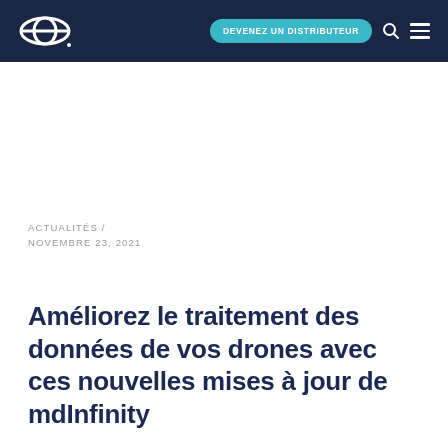DEVENEZ UN DISTRIBUTEUR
ACTUALITÉS / NOVEMBRE 23, 2021
Améliorez le traitement des données de vos drones avec ces nouvelles mises à jour de mdInfinity